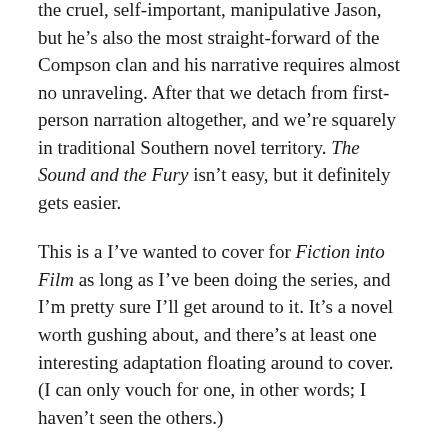the cruel, self-important, manipulative Jason, but he's also the most straight-forward of the Compson clan and his narrative requires almost no unraveling. After that we detach from first-person narration altogether, and we're squarely in traditional Southern novel territory. The Sound and the Fury isn't easy, but it definitely gets easier.
This is a I've wanted to cover for Fiction into Film as long as I've been doing the series, and I'm pretty sure I'll get around to it. It's a novel worth gushing about, and there's at least one interesting adaptation floating around to cover. (I can only vouch for one, in other words; I haven't seen the others.)
But really it's because I want an excuse to talk about it. I want to talk about how the Compsons–major and minor–each rebel against what their family is,